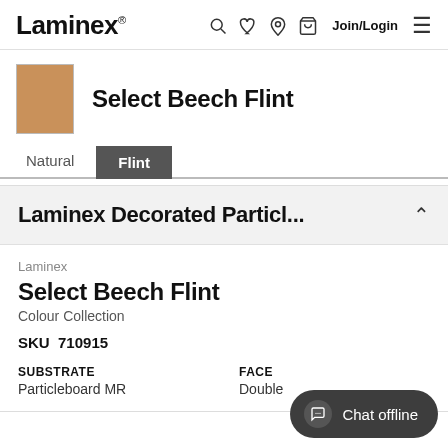Laminex
Select Beech Flint
Natural  Flint
Laminex Decorated Particl...
Laminex
Select Beech Flint
Colour Collection
SKU  710915
SUBSTRATE
Particleboard MR
FACE
Double